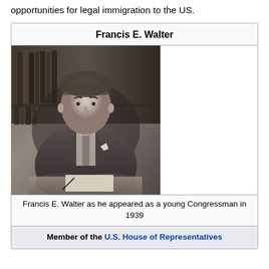opportunities for legal immigration to the US.
Francis E. Walter
[Figure (photo): Black and white photograph of Francis E. Walter as a young Congressman in 1939, seated at a desk with papers, wearing a suit, with bookshelves in the background.]
Francis E. Walter as he appeared as a young Congressman in 1939
Member of the U.S. House of Representatives